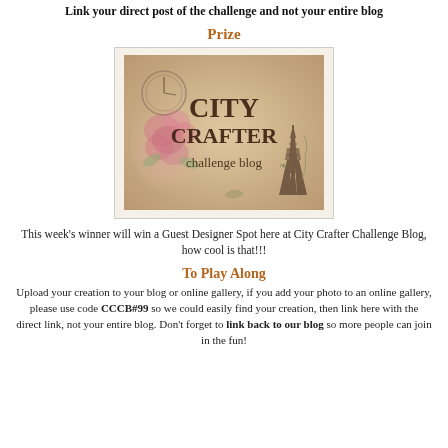Link your direct post of the challenge and not your entire blog
Prize
[Figure (logo): City Crafter Challenge Blog logo - vintage style with roses, Eiffel Tower, and decorative elements on tan/beige background]
This week's winner will win a Guest Designer Spot here at City Crafter Challenge Blog, how cool is that!!!
To Play Along
Upload your creation to your blog or online gallery, if you add your photo to an online gallery, please use code CCCB#99 so we could easily find your creation, then link here with the direct link, not your entire blog. Don't forget to link back to our blog so more people can join in the fun!